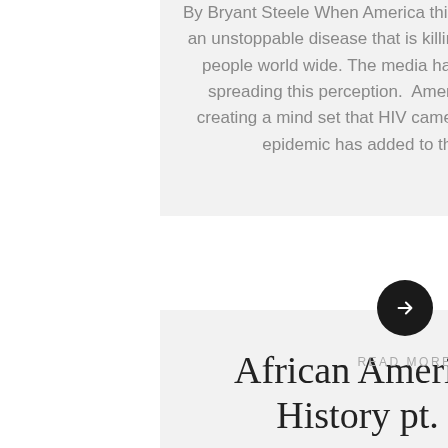By Bryant Steele When America thinks of AIDS, we think of an unstoppable disease that is killing more than 36 million people world wide. The media has played a big part in spreading this perception.  Americans are constantly creating a mind set that HIV came from Africa. The aids epidemic has added to the negative…
READ MORE
African American Music History pt. 5 James